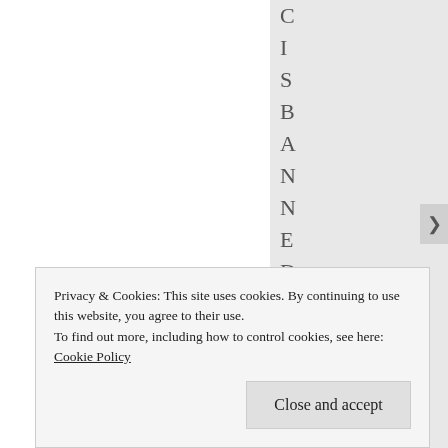C
I
S
B
A
N
N
E
D
T
H
Privacy & Cookies: This site uses cookies. By continuing to use this website, you agree to their use.
To find out more, including how to control cookies, see here: Cookie Policy
Close and accept